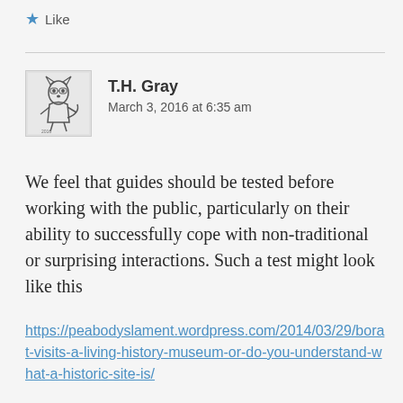★ Like
T.H. Gray
March 3, 2016 at 6:35 am
We feel that guides should be tested before working with the public, particularly on their ability to successfully cope with non-traditional or surprising interactions. Such a test might look like this
https://peabodyslament.wordpress.com/2014/03/29/borat-visits-a-living-history-museum-or-do-you-understand-what-a-historic-site-is/